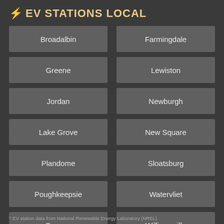⚡ EV STATIONS LOCAL
Broadalbin
Farmingdale
Greene
Lewiston
Jordan
Newburgh
Lake Grove
New Square
Plandome
Sloatsburg
Poughkeepsie
Watervliet
Savona
Williamsville
^ EV station data from National Renewable Energy Laboratory (NREL)